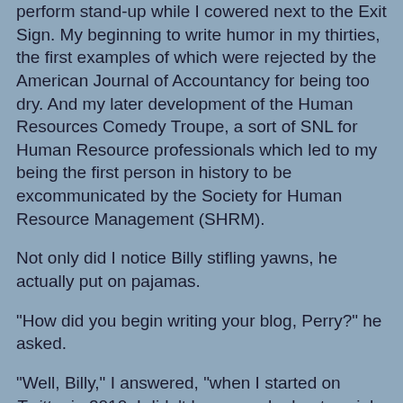perform stand-up while I cowered next to the Exit Sign. My beginning to write humor in my thirties, the first examples of which were rejected by the American Journal of Accountancy for being too dry. And my later development of the Human Resources Comedy Troupe, a sort of SNL for Human Resource professionals which led to my being the first person in history to be excommunicated by the Society for Human Resource Management (SHRM).
Not only did I notice Billy stifling yawns, he actually put on pajamas.
"How did you begin writing your blog, Perry?" he asked.
"Well, Billy," I answered, "when I started on Twitter in 2010, I didn't know much about social media. I thought 'Twitter' was the dirtiest sounding clean word in the English language."
"And the blog?"
"Boy do I hate that word!  It sounds like the sound you make just before you are about to throw up.